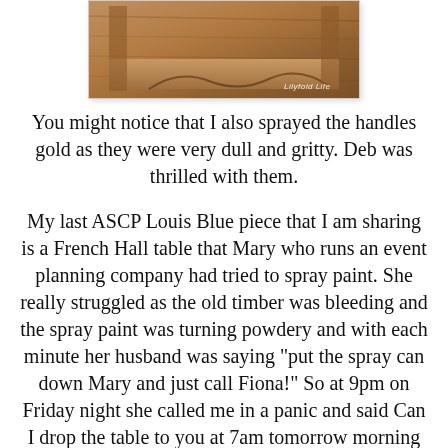[Figure (photo): Wooden furniture piece (shelf or mantel) with warm brown tones and decorative cutout detail, shown from above. Watermark reads 'Lilyfold Life'.]
You might notice that I also sprayed the handles gold as they were very dull and gritty. Deb was thrilled with them.
My last ASCP Louis Blue piece that I am sharing is a French Hall table that Mary who runs an event planning company had tried to spray paint. She really struggled as the old timber was bleeding and the spray paint was turning powdery and with each minute her husband was saying "put the spray can down Mary and just call Fiona!" So at 9pm on Friday night she called me in a panic and said Can I drop the table to you at 7am tomorrow morning as I need it for an event on Sunday?" So I agreed, even tough it meant a hectic day and night of work. I had to